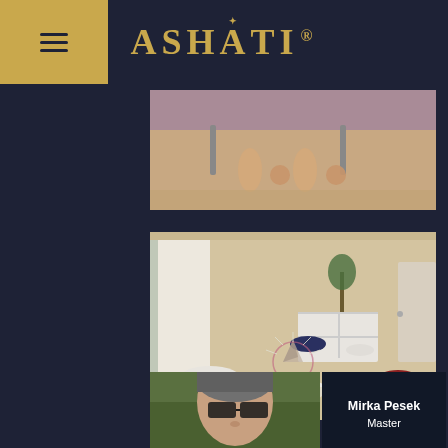ASHATI
[Figure (photo): Photo showing lower legs and feet of a person sitting on a bed or table, warm indoor setting]
[Figure (photo): Interior room photo showing meditation/healing space with cushions, a crystal pyramid in the center, curtains, white shelving unit, plants, and multiple meditation cushions arranged on a light floor]
[Figure (photo): Portrait photo of a woman with dark-framed glasses and grey hair, outdoors with green background]
Mirka Pesek
Master